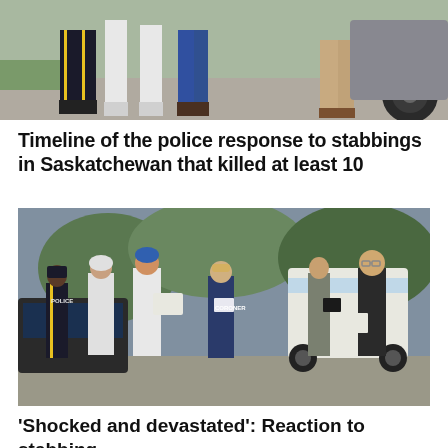[Figure (photo): Crime scene photo showing legs and feet of multiple people standing on pavement, including an RCMP officer in uniform with yellow stripe, forensic investigators in white coveralls, and civilians near a vehicle.]
Timeline of the police response to stabbings in Saskatchewan that killed at least 10
[Figure (photo): Crime scene photo showing a police officer, forensic investigators in white coveralls, a coroner in navy jacket labeled CORONER, and plainclothes officers near a white van. The scene is outdoors in a rural or suburban setting at dusk.]
'Shocked and devastated': Reaction to stabbing